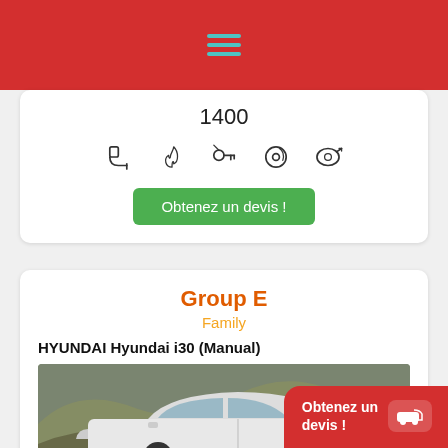Navigation menu (hamburger icon, red bar)
1400
[Figure (infographic): Five feature icons in a row: seat, flame, key/remote, disc/media, mirror]
Obtenez un devis !
Group E
Family
HYUNDAI Hyundai i30 (Manual)
[Figure (photo): White Hyundai i30 sedan parked on a road with rocky hillside in the background]
Obtenez un devis !